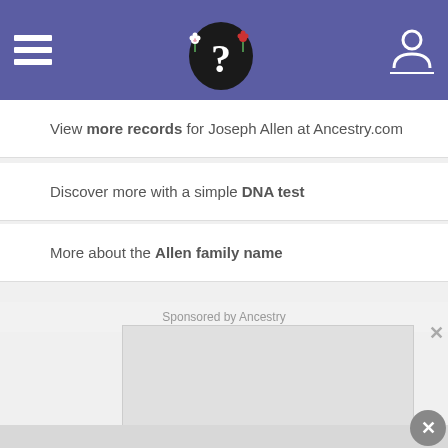Navigation bar with hamburger menu, ancestry logo, and user icon
View more records for Joseph Allen at Ancestry.com
Discover more with a simple DNA test
More about the Allen family name
Sponsored by Ancestry
[Figure (other): Gray advertisement placeholder block]